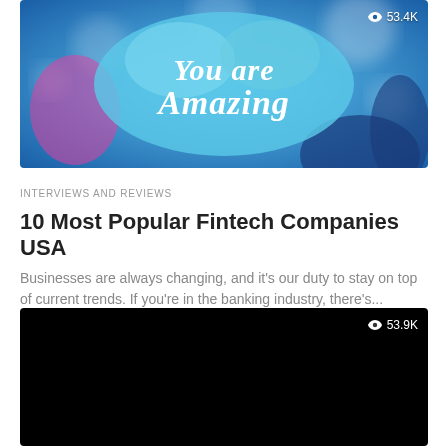[Figure (photo): Colorful concert/event photo with blue bokeh lights and a sign reading 'You are Amazing' with view count badge showing eye icon and '53.4K']
INTERVIEWS AND REVIEWS
10 Most Popular Fintech Companies USA
Businesses are always changing, and it's our duty to stay on top of current trends. If you're in the banking industry, there's...
[Figure (photo): Black thumbnail image with view count badge showing eye icon and '53.9K']